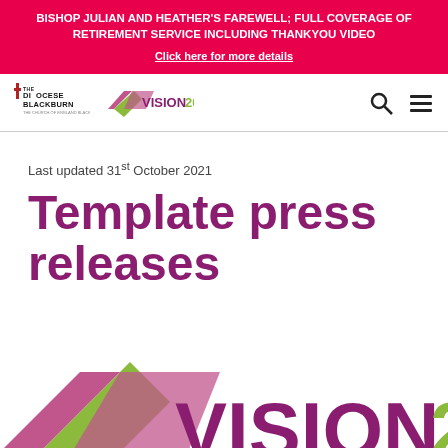BISHOP JULIAN AND HEATHER'S FAREWELL; FULL COVERAGE OF RETIREMENT SERVICE INCLUDING THANKYOU VIDEO
Click here for more details
[Figure (logo): Diocese of Blackburn logo and Vision 2026 logo in navigation bar]
Last updated 31st October 2021
Template press releases
[Figure (logo): Large Vision 2026 logo partially visible at bottom of page]